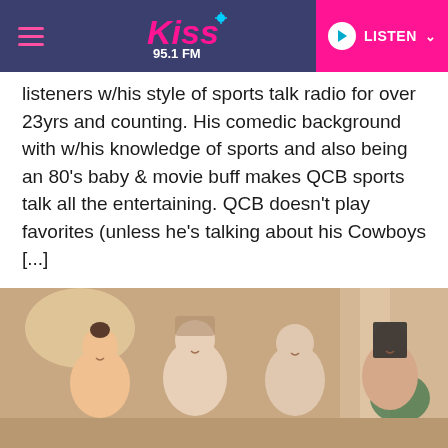Kiss 95.1 FM — LISTEN
listeners w/his style of sports talk radio for over 23yrs and counting. His comedic background with w/his knowledge of sports and also being an 80's baby & movie buff makes QCB sports talk all the entertaining. QCB doesn't play favorites (unless he's talking about his Cowboys [...]
Play Latest (July 23rd)
18 EPISODES
[Figure (photo): Group photo of several people (three visible) in a well-lit indoor setting, partial crop showing heads and shoulders.]